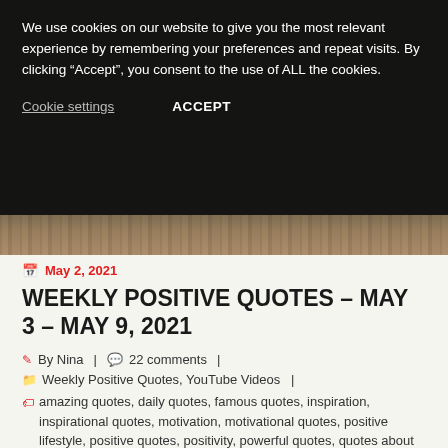We use cookies on our website to give you the most relevant experience by remembering your preferences and repeat visits. By clicking “Accept”, you consent to the use of ALL the cookies.
Cookie settings    ACCEPT
[Figure (photo): Partial image of wooden texture or nature scene, visible as a horizontal strip]
May 2, 2021
WEEKLY POSITIVE QUOTES – MAY 3 – MAY 9, 2021
By Nina  |  22 comments  |
Weekly Positive Quotes, YouTube Videos  |
amazing quotes, daily quotes, famous quotes, inspiration, inspirational quotes, motivation, motivational quotes, positive lifestyle, positive quotes, positivity, powerful quotes, quotes about children, weekly positive quotes, weekly positive thoughts, weekly positive thoughts video, weekly quotes, weeklyvideo